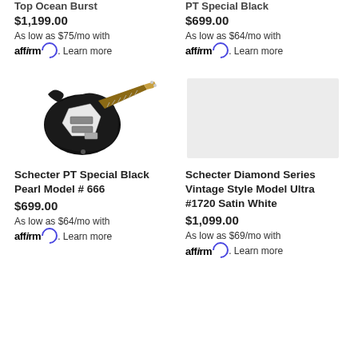...Top Ocean Burst
$1,199.00
As low as $75/mo with affirm. Learn more
...PT Special Black
$699.00
As low as $64/mo with affirm. Learn more
[Figure (photo): Schecter PT Special Black Pearl electric guitar with black body, white pickguard, and brown neck]
[Figure (photo): Placeholder/loading image (light gray rectangle)]
Schecter PT Special Black Pearl Model # 666
$699.00
As low as $64/mo with affirm. Learn more
Schecter Diamond Series Vintage Style Model Ultra #1720 Satin White
$1,099.00
As low as $69/mo with affirm. Learn more